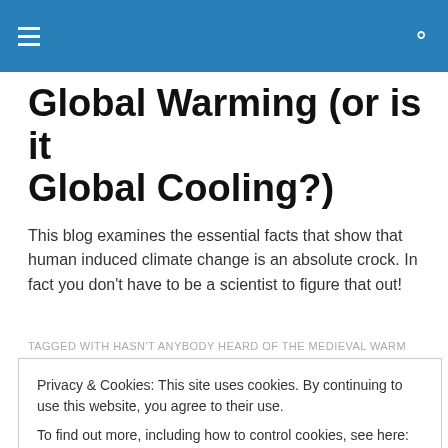Global Warming (or is it Global Cooling?)
This blog examines the essential facts that show that human induced climate change is an absolute crock. In fact you don't have to be a scientist to figure that out!
TAGGED WITH HASN'T ANYBODY HEARD OF THE MEDIEVAL WARM
Privacy & Cookies: This site uses cookies. By continuing to use this website, you agree to their use.
To find out more, including how to control cookies, see here: Cookie Policy